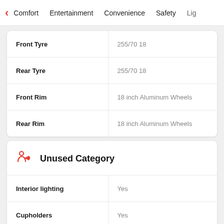< Comfort  Entertainment  Convenience  Safety  Lig
| Feature | Value |
| --- | --- |
| Front Tyre | 255/70 18 |
| Rear Tyre | 255/70 18 |
| Front Rim | 18 inch Aluminum Wheels |
| Rear Rim | 18 inch Aluminum Wheels |
Unused Category
| Feature | Value |
| --- | --- |
| Interior lighting | Yes |
| Cupholders | Yes |
| Power steering | Yes |
| Power sockets | Yes |
| Radio | Yes |